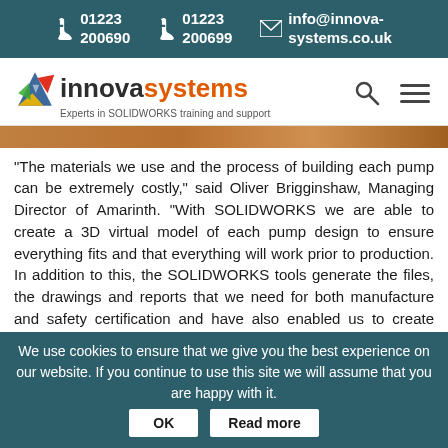01223 200690 | 01223 200699 | info@innova-systems.co.uk
[Figure (logo): Innova Systems logo with triangle icon, text 'innovasystems' and tagline 'Experts in SOLIDWORKS training and support']
“The materials we use and the process of building each pump can be extremely costly,” said Oliver Brigginshaw, Managing Director of Amarinth. “With SOLIDWORKS we are able to create a 3D virtual model of each pump design to ensure everything fits and that everything will work prior to production. In addition to this, the SOLIDWORKS tools generate the files, the drawings and reports that we need for both manufacture and safety certification and have also enabled us to create more complex and more refined parts, enabling us to produce more efficient, more reliable and better performing pumps.”
We use cookies to ensure that we give you the best experience on our website. If you continue to use this site we will assume that you are happy with it. OK Read more